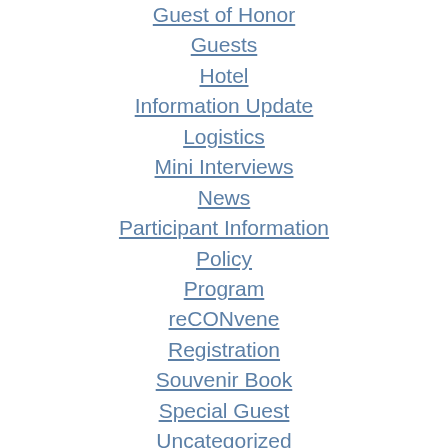Guest of Honor
Guests
Hotel
Information Update
Logistics
Mini Interviews
News
Participant Information
Policy
Program
reCONvene
Registration
Souvenir Book
Special Guest
Uncategorized
ARCHIVES